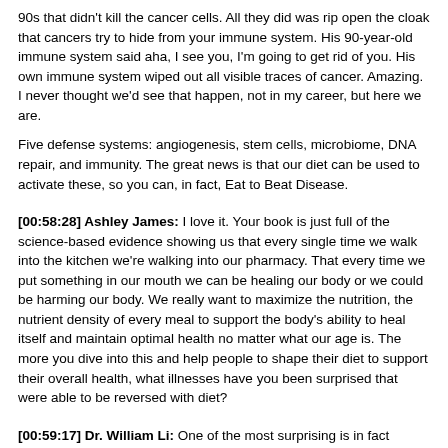90s that didn't kill the cancer cells. All they did was rip open the cloak that cancers try to hide from your immune system. His 90-year-old immune system said aha, I see you, I'm going to get rid of you. His own immune system wiped out all visible traces of cancer. Amazing. I never thought we'd see that happen, not in my career, but here we are.
Five defense systems: angiogenesis, stem cells, microbiome, DNA repair, and immunity. The great news is that our diet can be used to activate these, so you can, in fact, Eat to Beat Disease.
[00:58:28] Ashley James: I love it. Your book is just full of the science-based evidence showing us that every single time we walk into the kitchen we're walking into our pharmacy. That every time we put something in our mouth we can be healing our body or we could be harming our body. We really want to maximize the nutrition, the nutrient density of every meal to support the body's ability to heal itself and maintain optimal health no matter what our age is. The more you dive into this and help people to shape their diet to support their overall health, what illnesses have you been surprised that were able to be reversed with diet?
[00:59:17] Dr. William Li: One of the most surprising is in fact cancer. We talked a little bit about this earlier. I'll tell you about the experience. This immunotherapy that I told you about there's a bunch of different treatments